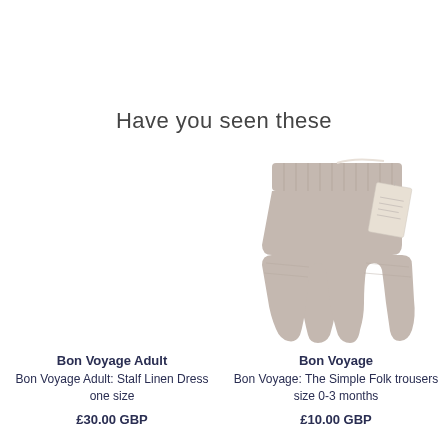Have you seen these
[Figure (photo): Empty product image placeholder for Bon Voyage Adult: Stalf Linen Dress one size]
Bon Voyage Adult
Bon Voyage Adult: Stalf Linen Dress one size
£30.00 GBP
[Figure (photo): Photo of Bon Voyage knit shorts in light greige/taupe color with ribbed waistband and a small tag attached, size 0-3 months]
Bon Voyage
Bon Voyage: The Simple Folk trousers size 0-3 months
£10.00 GBP